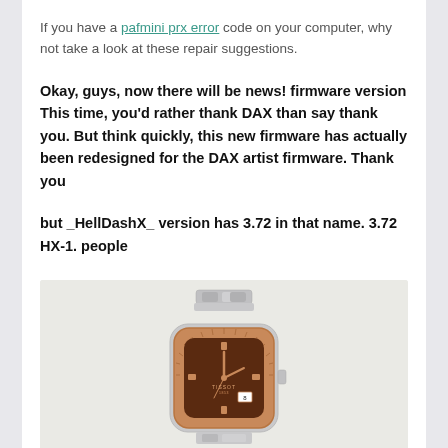If you have a pafmini prx error code on your computer, why not take a look at these repair suggestions.
Okay, guys, now there will be news! firmware version This time, you'd rather thank DAX than say thank you. But think quickly, this new firmware has actually been redesigned for the DAX artist firmware. Thank you
but _HellDashX_ version has 3.72 in that name. 3.72 HX-1. people
[Figure (photo): A Tissot PRX watch with a brown dial and rose gold bezel, silver stainless steel bracelet, partial view cropped at bottom of page.]